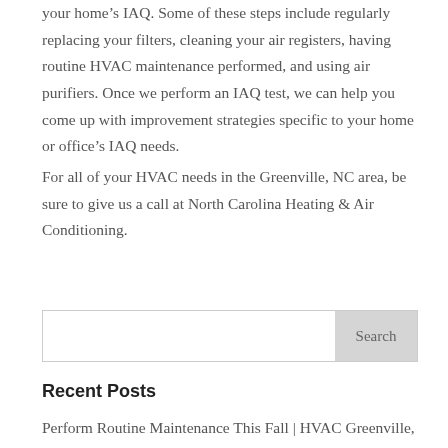your home's IAQ. Some of these steps include regularly replacing your filters, cleaning your air registers, having routine HVAC maintenance performed, and using air purifiers. Once we perform an IAQ test, we can help you come up with improvement strategies specific to your home or office's IAQ needs. For all of your HVAC needs in the Greenville, NC area, be sure to give us a call at North Carolina Heating & Air Conditioning.
Search
Recent Posts
Perform Routine Maintenance This Fall | HVAC Greenville, NC